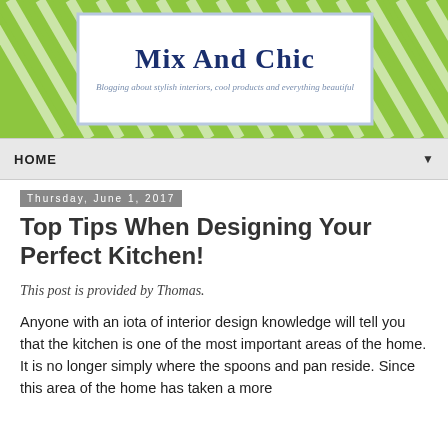[Figure (logo): Mix And Chic blog header banner with green and white zebra-stripe background and white logo box. Logo reads 'Mix And Chic' in dark navy serif font with subtitle 'Blogging about stylish interiors, cool products and everything beautiful'.]
HOME ▼
Thursday, June 1, 2017
Top Tips When Designing Your Perfect Kitchen!
This post is provided by Thomas.
Anyone with an iota of interior design knowledge will tell you that the kitchen is one of the most important areas of the home. It is no longer simply where the spoons and pan reside. Since this area of the home has taken a more